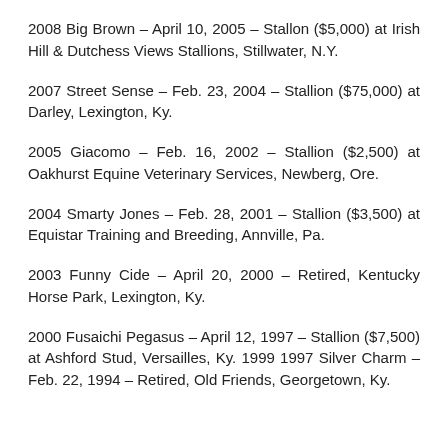2008 Big Brown – April 10, 2005 – Stallon ($5,000) at Irish Hill & Dutchess Views Stallions, Stillwater, N.Y.
2007 Street Sense – Feb. 23, 2004 – Stallion ($75,000) at Darley, Lexington, Ky.
2005 Giacomo – Feb. 16, 2002 – Stallion ($2,500) at Oakhurst Equine Veterinary Services, Newberg, Ore.
2004 Smarty Jones – Feb. 28, 2001 – Stallion ($3,500) at Equistar Training and Breeding, Annville, Pa.
2003 Funny Cide – April 20, 2000 – Retired, Kentucky Horse Park, Lexington, Ky.
2000 Fusaichi Pegasus – April 12, 1997 – Stallion ($7,500) at Ashford Stud, Versailles, Ky. 1999 1997 Silver Charm – Feb. 22, 1994 – Retired, Old Friends, Georgetown, Ky.